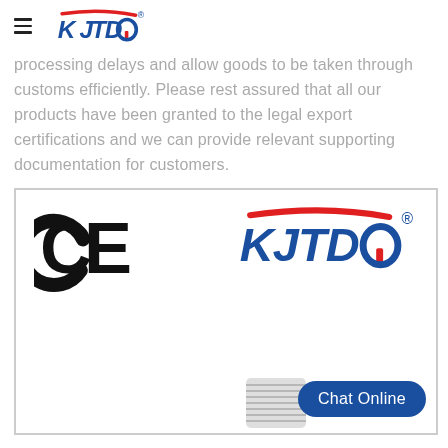KJTDO logo with hamburger menu
processing delays and allow goods to be taken through customs efficiently. Please rest assured that all our products have been granted to the legal export certifications and we can provide relevant supporting documentation for customers.
[Figure (logo): Box containing CE certification mark on the left and KJTDO brand logo on the right, with a screw/bolt image partially visible at the bottom and a 'Chat Online' button]
Chat Online